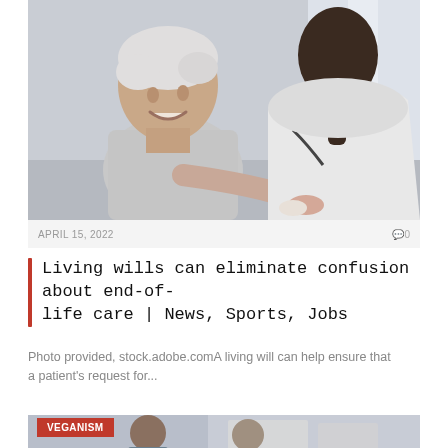[Figure (photo): An elderly man smiling and shaking hands with a healthcare professional (seen from behind, wearing a white coat). The scene appears to be a medical consultation setting.]
APRIL 15, 2022
0
Living wills can eliminate confusion about end-of-life care | News, Sports, Jobs
Photo provided, stock.adobe.comA living will can help ensure that a patient's request for...
[Figure (photo): Partial bottom image with VEGANISM label tag in red, showing what appears to be people in a medical or office setting.]